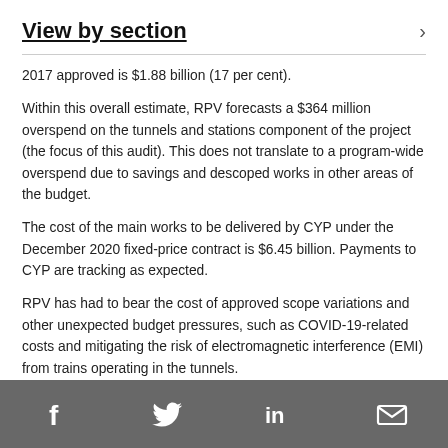View by section
2017 approved is $1.88 billion (17 per cent).
Within this overall estimate, RPV forecasts a $364 million overspend on the tunnels and stations component of the project (the focus of this audit). This does not translate to a program-wide overspend due to savings and descoped works in other areas of the budget.
The cost of the main works to be delivered by CYP under the December 2020 fixed-price contract is $6.45 billion. Payments to CYP are tracking as expected.
RPV has had to bear the cost of approved scope variations and other unexpected budget pressures, such as COVID-19-related costs and mitigating the risk of electromagnetic interference (EMI) from trains operating in the tunnels.
Due to this and other realised risk events, RPV has used or
f  twitter  in  email